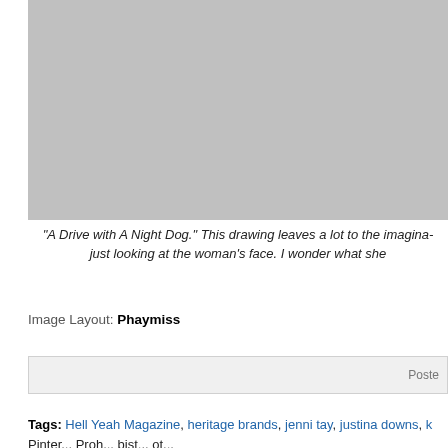[Figure (illustration): Gray placeholder rectangle representing an illustration titled 'A Drive with A Night Dog']
"A Drive with A Night Dog." This drawing leaves a lot to the imagina... just looking at the woman's face. I wonder what she...
Image Layout: Phaymiss
Poste...
Tags: Hell Yeah Magazine, heritage brands, jenni tay, justina downs, Pinter... Proh... bist... ot...